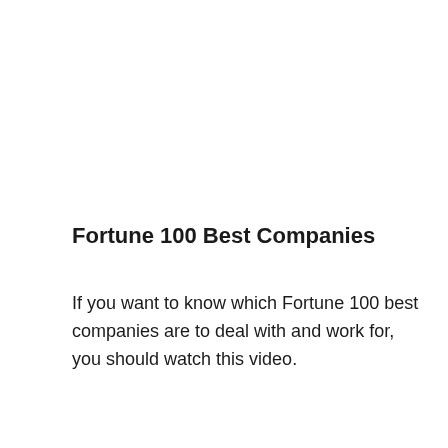Fortune 100 Best Companies
If you want to know which Fortune 100 best companies are to deal with and work for, you should watch this video.